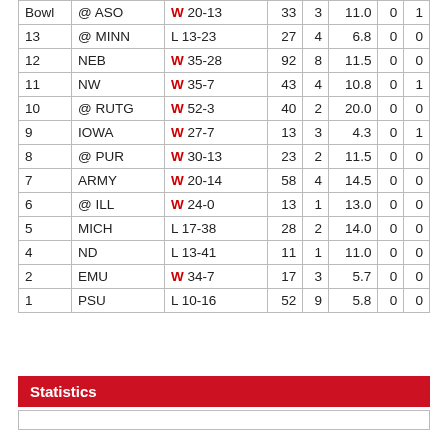| Game | Opponent | Result | Yds | Rec | Avg | TD | Long |
| --- | --- | --- | --- | --- | --- | --- | --- |
| Bowl | @ ASO | W 20-13 | 33 | 3 | 11.0 | 0 | 1 |
| 13 | @ MINN | L 13-23 | 27 | 4 | 6.8 | 0 | 0 |
| 12 | NEB | W 35-28 | 92 | 8 | 11.5 | 0 | 0 |
| 11 | NW | W 35-7 | 43 | 4 | 10.8 | 0 | 1 |
| 10 | @ RUTG | W 52-3 | 40 | 2 | 20.0 | 0 | 0 |
| 9 | IOWA | W 27-7 | 13 | 3 | 4.3 | 0 | 1 |
| 8 | @ PUR | W 30-13 | 23 | 2 | 11.5 | 0 | 0 |
| 7 | ARMY | W 20-14 | 58 | 4 | 14.5 | 0 | 0 |
| 6 | @ ILL | W 24-0 | 13 | 1 | 13.0 | 0 | 0 |
| 5 | MICH | L 17-38 | 28 | 2 | 14.0 | 0 | 0 |
| 4 | ND | L 13-41 | 11 | 1 | 11.0 | 0 | 0 |
| 2 | EMU | W 34-7 | 17 | 3 | 5.7 | 0 | 0 |
| 1 | PSU | L 10-16 | 52 | 9 | 5.8 | 0 | 0 |
Statistics